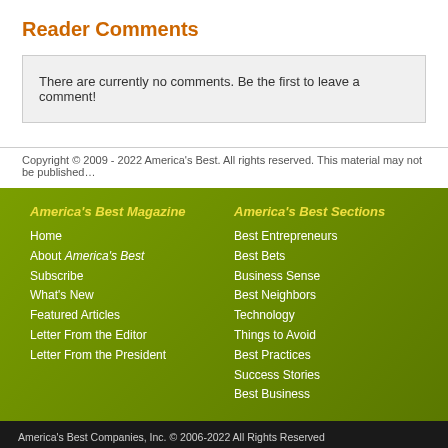Reader Comments
There are currently no comments. Be the first to leave a comment!
Copyright © 2009 - 2022 America's Best. All rights reserved. This material may not be published…
America's Best Magazine
Home
About America's Best
Subscribe
What's New
Featured Articles
Letter From the Editor
Letter From the President
America's Best Sections
Best Entrepreneurs
Best Bets
Business Sense
Best Neighbors
Technology
Things to Avoid
Best Practices
Success Stories
Best Business
America's Best Companies, Inc. © 2006-2022 All Rights Reserved
2001 Butterfield Road Suite 310 | Downers Grove, IL 60515 | 1-877-885-2378